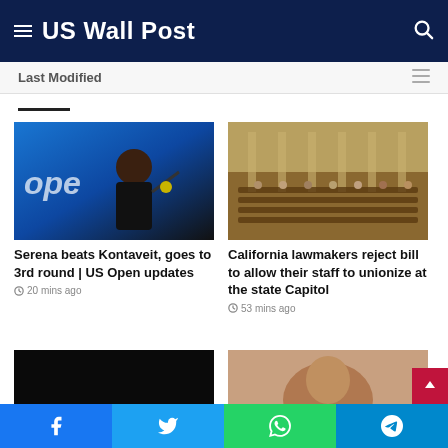US Wall Post
Last Modified
[Figure (photo): Serena Williams playing tennis at US Open, swinging racket on blue court]
Serena beats Kontaveit, goes to 3rd round | US Open updates
20 mins ago
[Figure (photo): California state legislature chamber with lawmakers seated at desks with laptops]
California lawmakers reject bill to allow their staff to unionize at the state Capitol
53 mins ago
[Figure (photo): Dark/black image, partially visible article photo]
[Figure (photo): Person's face, partially visible article photo]